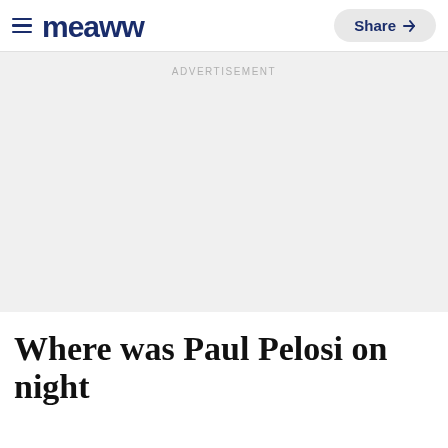≡ Meaww  Share
ADVERTISEMENT
Where was Paul Pelosi on night